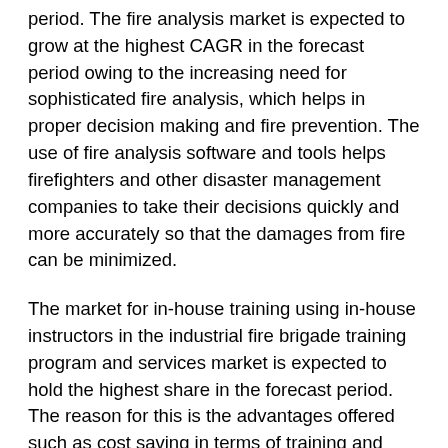period. The fire analysis market is expected to grow at the highest CAGR in the forecast period owing to the increasing need for sophisticated fire analysis, which helps in proper decision making and fire prevention. The use of fire analysis software and tools helps firefighters and other disaster management companies to take their decisions quickly and more accurately so that the damages from fire can be minimized.
The market for in-house training using in-house instructors in the industrial fire brigade training program and services market is expected to hold the highest share in the forecast period. The reason for this is the advantages offered such as cost saving in terms of training and traveling as well as specific, convenient, and customized training, among others. The market for combination training is expected to grow at the highest rate because combination training enables firefighters to have access to firefighting equipment as well as classrooms for in-class refreshers. They may get to experience both incipient and advanced level firefighting